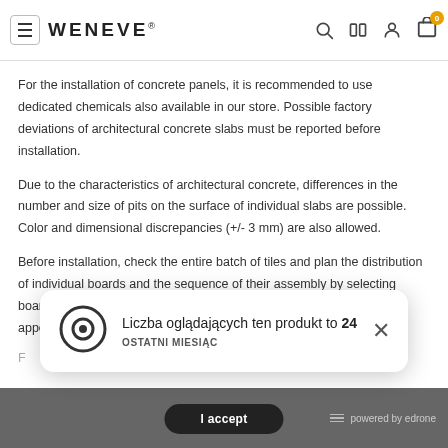WENEVE
For the installation of concrete panels, it is recommended to use dedicated chemicals also available in our store. Possible factory deviations of architectural concrete slabs must be reported before installation.
Due to the characteristics of architectural concrete, differences in the number and size of pits on the surface of individual slabs are possible. Color and dimensional discrepancies (+/- 3 mm) are also allowed.
Before installation, check the entire batch of tiles and plan the distribution of individual boards and the sequence of their assembly by selecting boards from different places on the pallet to maintain the natural appearance of the wall.
[Figure (infographic): Popup notification: eye icon, text 'Liczba oglądających ten produkt to 24 / OSTATNI MIESIĄC', close button (×)]
I accept | powered by edrone